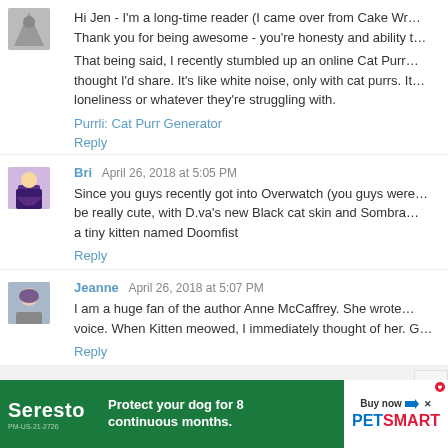Hi Jen - I'm a long-time reader (I came over from Cake Wre... Thank you for being awesome - you're honesty and ability t...
That being said, I recently stumbled up an online Cat Purr... thought I'd share. It's like white noise, only with cat purrs. It... loneliness or whatever they're struggling with.
Purrli: Cat Purr Generator
Reply
Bri  April 26, 2018 at 5:05 PM
Since you guys recently got into Overwatch (you guys were... be really cute, with D.va's new Black cat skin and Sombra... a tiny kitten named Doomfist
Reply
Jeanne  April 26, 2018 at 5:07 PM
I am a huge fan of the author Anne McCaffrey. She wrote... voice. When Kitten meowed, I immediately thought of her. G...
Reply
[Figure (infographic): Seresto and PetSmart advertisement banner: green background with Seresto brand logo, text 'Protect your dog for 8 continuous months.' and PetSmart logo with 'Buy now' button]